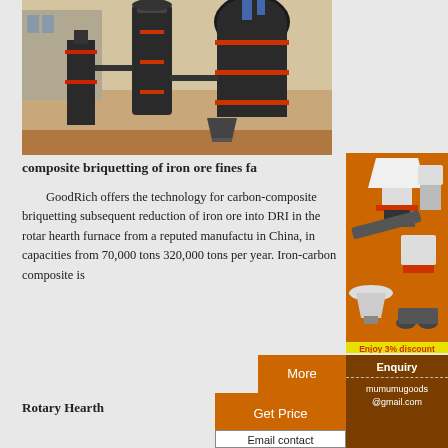[Figure (photo): Industrial grinding/milling machines in a factory setting, large dark metal equipment with red accents]
composite briquetting of iron ore fines fa
GoodRich offers the technology for carbon-composite briquetting subsequent reduction of iron ore into DRI in the rotary hearth furnace from a reputed manufacturer in China, in capacities from 70,000 tons to 320,000 tons per year. Iron-carbon composite is
[Figure (photo): Advertisement sidebar showing crushing/milling machines with orange background, 'Enjoy 3% discount' and 'Click to Chat' buttons]
More
Get Price
Rotary Hearth
Email contact
Enquiry
mumumugoods
@gmail.com